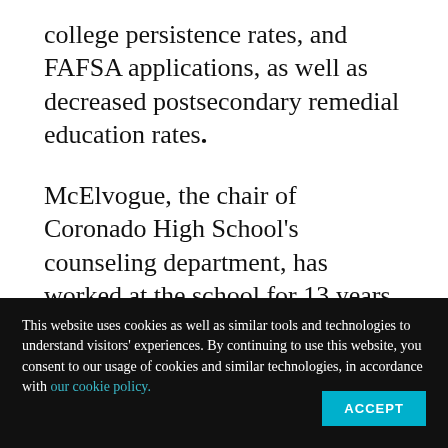college persistence rates, and FAFSA applications, as well as decreased postsecondary remedial education rates.
McElvogue, the chair of Coronado High School's counseling department, has worked at the school for 13 years. During that time, the department has grown from four to six counselors serving the school's 1,298 students. Her caseload has dropped from more than 400
This website uses cookies as well as similar tools and technologies to understand visitors' experiences. By continuing to use this website, you consent to our usage of cookies and similar technologies, in accordance with our cookie policy.